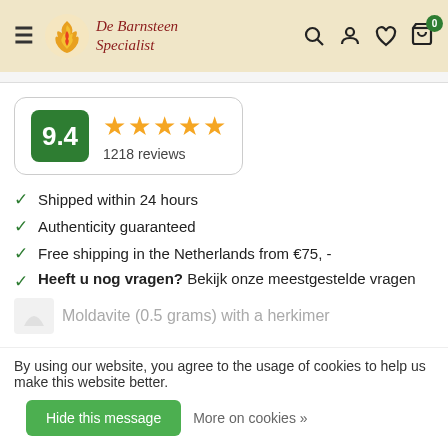De Barnsteen Specialist
[Figure (other): Rating box showing score 9.4 with 5 gold stars and 1218 reviews]
Shipped within 24 hours
Authenticity guaranteed
Free shipping in the Netherlands from €75, -
Heeft u nog vragen? Bekijk onze meestgestelde vragen
Moldavite (0.5 grams) with a herkimer
By using our website, you agree to the usage of cookies to help us make this website better.
Hide this message
More on cookies »